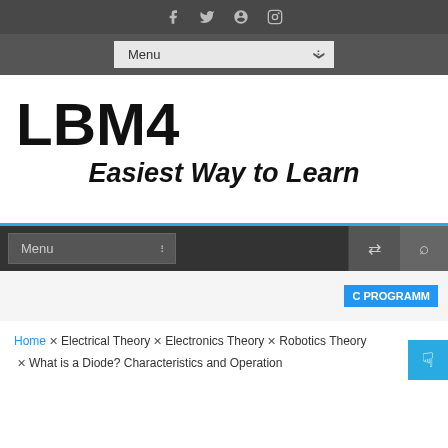Social icons: f, twitter, pinterest, instagram
Menu (dropdown)
LBM4
Easiest Way to Learn
Menu (nav bar) | shuffle icon | search icon
C PROGRAMM
Home × Electrical Theory × Electronics Theory × Robotics Theory × What is a Diode? Characteristics and Operation